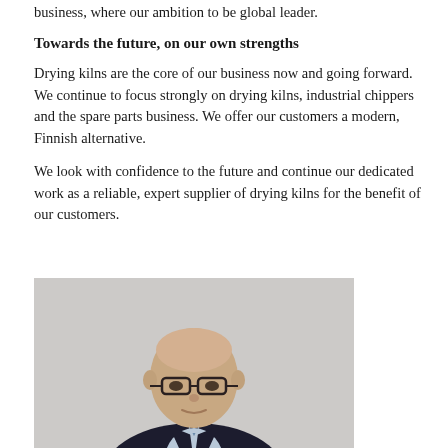business, where our ambition to be global leader.
Towards the future, on our own strengths
Drying kilns are the core of our business now and going forward. We continue to focus strongly on drying kilns, industrial chippers and the spare parts business. We offer our customers a modern, Finnish alternative.
We look with confidence to the future and continue our dedicated work as a reliable, expert supplier of drying kilns for the benefit of our customers.
[Figure (photo): Portrait photo of a bald man wearing glasses and a dark suit with a light blue tie, against a light grey background.]